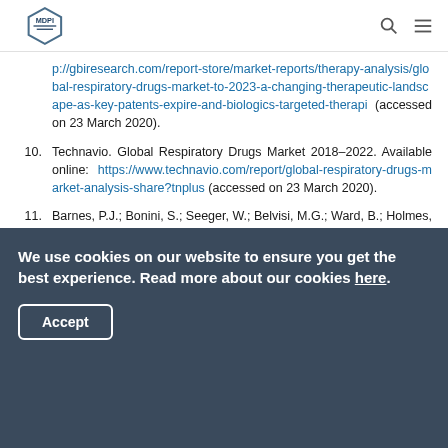MDPI
p://gbiresearch.com/report-store/market-reports/therapy-analysis/global-respiratory-drugs-market-to-2023-a-changing-therapeutic-landscape-as-key-patents-expire-and-biologics-targeted-therapi (accessed on 23 March 2020).
10. Technavio. Global Respiratory Drugs Market 2018–2022. Available online: https://www.technavio.com/report/global-respiratory-drugs-market-analysis-share?tnplus (accessed on 23 March 2020).
11. Barnes, P.J.; Bonini, S.; Seeger, W.; Belvisi, M.G.; Ward, B.; Holmes, A. Barriers to new drug development in
We use cookies on our website to ensure you get the best experience. Read more about our cookies here. Accept